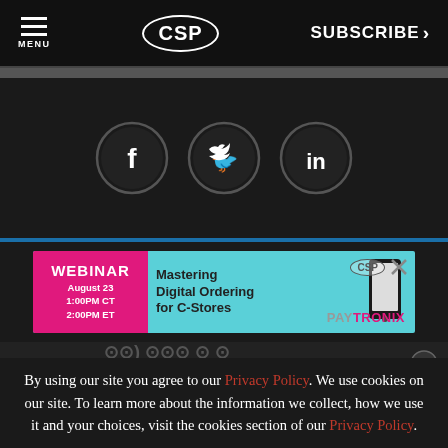MENU | CSP | SUBSCRIBE >
[Figure (illustration): Three circular social media icons on dark background: Facebook (f), Twitter (bird), LinkedIn (in)]
[Figure (screenshot): Advertisement banner: WEBINAR August 23 1:00PM CT 2:00PM ET - Mastering Digital Ordering for C-Stores - PAYTRONIX with CSP logo]
By using our site you agree to our Privacy Policy. We use cookies on our site. To learn more about the information we collect, how we use it and your choices, visit the cookies section of our Privacy Policy.